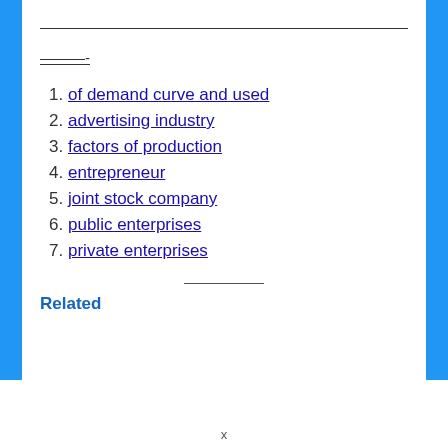———-
1. of demand curve and used
2. advertising industry
3. factors of production
4. entrepreneur
5. joint stock company
6. public enterprises
7. private enterprises
Related
x